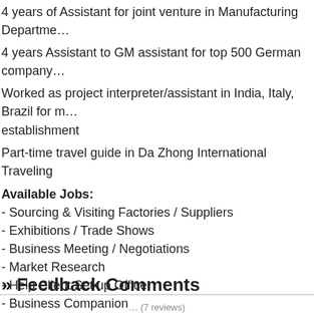4 years of Assistant for joint venture in Manufacturing Departme…
4 years Assistant to GM assistant for top 500 German company…
Worked as project interpreter/assistant in India, Italy, Brazil for … establishment
Part-time travel guide in Da Zhong International Traveling
Available Jobs:
- Sourcing & Visiting Factories / Suppliers
- Exhibitions / Trade Shows
- Business Meeting / Negotiations
- Market Research
- Help Client Set up Office
- Business Companion
- Secretary Service
- Personal Tour Guide
- Show Local Culture/ Food /Shopping/ Entertainment...
» Feedback Comments
… (7 reviews)